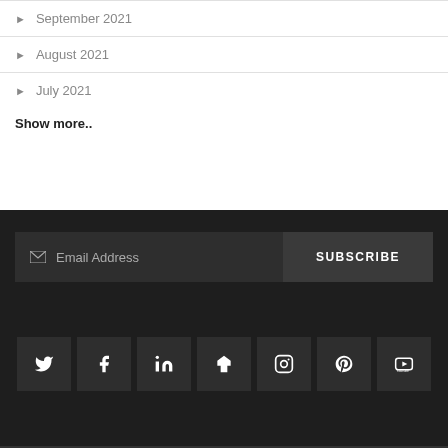September 2021
August 2021
July 2021
Show more..
[Figure (screenshot): Email subscription bar with email address input field and SUBSCRIBE button on dark background]
[Figure (infographic): Row of 7 social media icons: Twitter, Facebook, LinkedIn, Houzz, Instagram, Pinterest, YouTube on dark background]